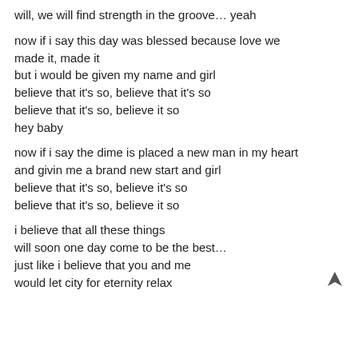will, we will find strength in the groove… yeah
now if i say this day was blessed because love we made it, made it
but i would be given my name and girl
believe that it's so, believe that it's so
believe that it's so, believe it so
hey baby
now if i say the dime is placed a new man in my heart
and givin me a brand new start and girl
believe that it's so, believe it's so
believe that it's so, believe it so
i believe that all these things
will soon one day come to be the best…
just like i believe that you and me
would let city for eternity relax